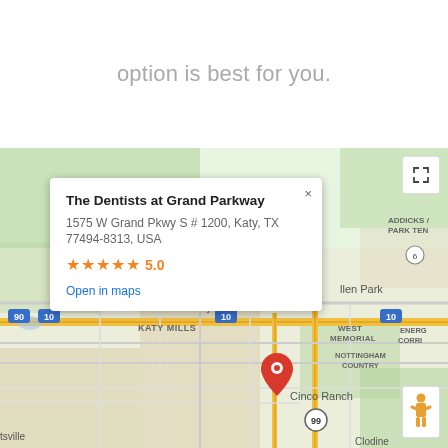option is best for you.
[Figure (map): Google Maps screenshot showing The Dentists at Grand Parkway location in Katy, TX near Cinco Ranch. Map shows Katy Mills area, West Memorial, Nottingham Country, Addicks / Park Ten, Energy Corridor, Cinco Ranch. A red pin marker is placed at the dentist location. An info popup shows business name, address, 5-star rating, and Open in maps link.]